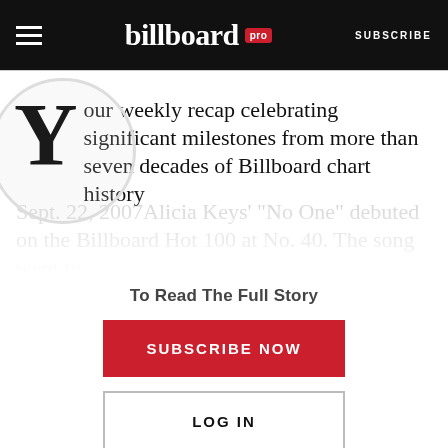billboard pro | SUBSCRIBE
Your weekly recap celebrating significant milestones from more than seven decades of Billboard chart historySept. 22, 2007Alicia Keys' "No One" debuted on the Billboard Hot 100 at No. 40. The song went to...
To Read The Full Story
SUBSCRIBE NOW
LOG IN